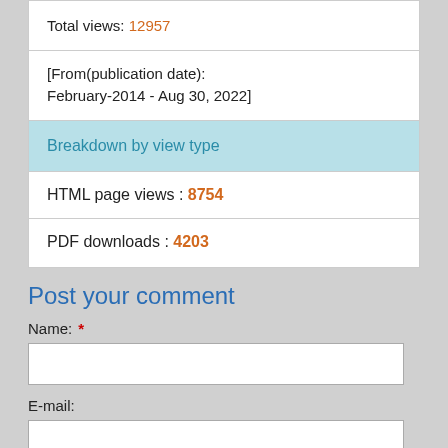Total views: 12957
[From(publication date): February-2014 - Aug 30, 2022]
Breakdown by view type
HTML page views : 8754
PDF downloads : 4203
Post your comment
Name: *
E-mail: